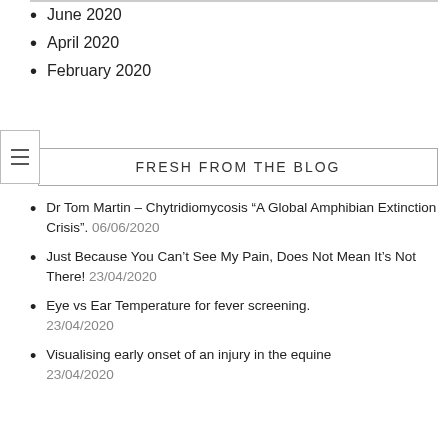June 2020
April 2020
February 2020
FRESH FROM THE BLOG
Dr Tom Martin – Chytridiomycosis “A Global Amphibian Extinction Crisis”. 06/06/2020
Just Because You Can’t See My Pain, Does Not Mean It’s Not There! 23/04/2020
Eye vs Ear Temperature for fever screening. 23/04/2020
Visualising early onset of an injury in the equine 23/04/2020